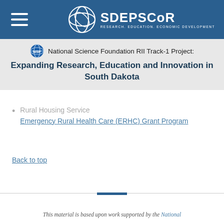SD EPSCoR — Research. Education. Economic Development.
National Science Foundation RII Track-1 Project: Expanding Research, Education and Innovation in South Dakota
Rural Housing Service
Emergency Rural Health Care (ERHC) Grant Program
Back to top
This material is based upon work supported by the National